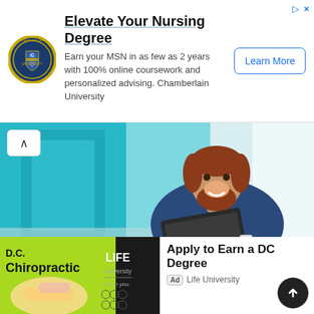[Figure (illustration): Chamberlain University logo - circular badge with shield]
Elevate Your Nursing Degree
Earn your MSN in as few as 2 years with 100% online coursework and personalized advising. Chamberlain University
[Figure (photo): Smiling bearded man in dark blue polo shirt looking at a tablet, seated in a modern bright interior with teal/blue accents]
A faster path to your degree
Ad  Lynn University
[Figure (illustration): D.C. Chiropractic magazine cover with LIFE University branding - green and black design showing hands performing chiropractic adjustment]
Apply to Earn a DC Degree
Ad  Life University